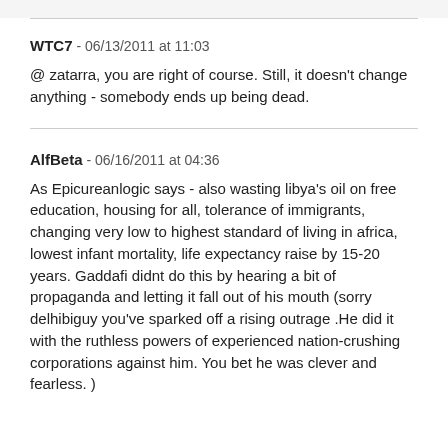WTC7 - 06/13/2011 at 11:03
@ zatarra, you are right of course. Still, it doesn't change anything - somebody ends up being dead.
AlfBeta - 06/16/2011 at 04:36
As Epicureanlogic says - also wasting libya's oil on free education, housing for all, tolerance of immigrants, changing very low to highest standard of living in africa, lowest infant mortality, life expectancy raise by 15-20 years. Gaddafi didnt do this by hearing a bit of propaganda and letting it fall out of his mouth (sorry delhibiguy you've sparked off a rising outrage .He did it with the ruthless powers of experienced nation-crushing corporations against him. You bet he was clever and fearless. )